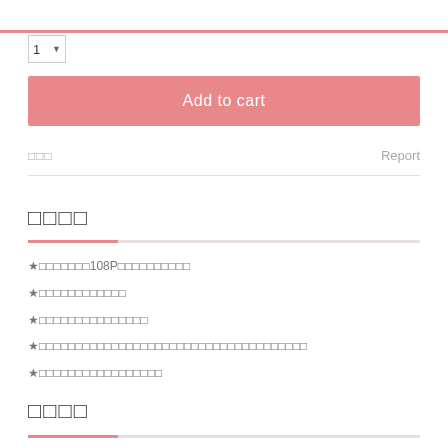1
Add to cart
□□□   Report
□□□□
★□□□□□□□108P□□□□□□□□□□
★□□□□□□□□□□□□
★□□□□□□□□□□□□□□□
★□□□□□□□□□□□□□□□□□□□□□□□□□□□□□□□□□□□□□
★□□□□□□□□□□□□□□□□□
□□□□